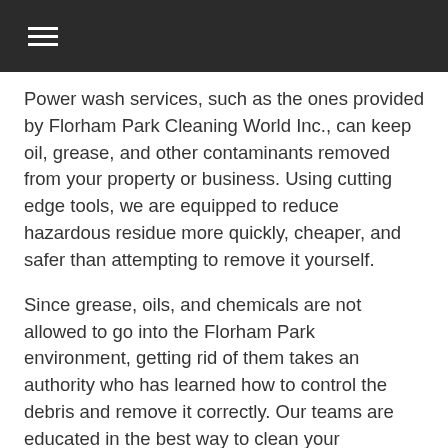Power wash services, such as the ones provided by Florham Park Cleaning World Inc., can keep oil, grease, and other contaminants removed from your property or business. Using cutting edge tools, we are equipped to reduce hazardous residue more quickly, cheaper, and safer than attempting to remove it yourself.
Since grease, oils, and chemicals are not allowed to go into the Florham Park environment, getting rid of them takes an authority who has learned how to control the debris and remove it correctly. Our teams are educated in the best way to clean your residence or corporation with a power washer and how to store and remove any dangerous deposits.